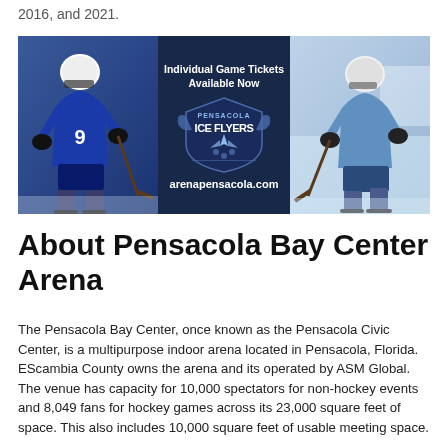2016, and 2021.
[Figure (photo): Pensacola Ice Flyers promotional banner showing two hockey players in blue uniforms on either side of the Ice Flyers logo with text 'Individual Game Tickets Available Now' and 'arenapensacola.com']
About Pensacola Bay Center Arena
The Pensacola Bay Center, once known as the Pensacola Civic Center, is a multipurpose indoor arena located in Pensacola, Florida. EScambia County owns the arena and its operated by ASM Global. The venue has capacity for 10,000 spectators for non-hockey events and 8,049 fans for hockey games across its 23,000 square feet of space. This also includes 10,000 square feet of usable meeting space.